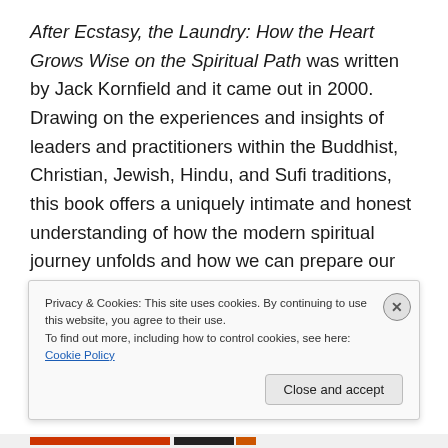After Ecstasy, the Laundry: How the Heart Grows Wise on the Spiritual Path was written by Jack Kornfield and it came out in 2000. Drawing on the experiences and insights of leaders and practitioners within the Buddhist, Christian, Jewish, Hindu, and Sufi traditions, this book offers a uniquely intimate and honest understanding of how the modern spiritual journey unfolds and how we can prepare our hearts for awakening.
“We all after the honeymoon comes marriage, after the
Privacy & Cookies: This site uses cookies. By continuing to use this website, you agree to their use.
To find out more, including how to control cookies, see here: Cookie Policy